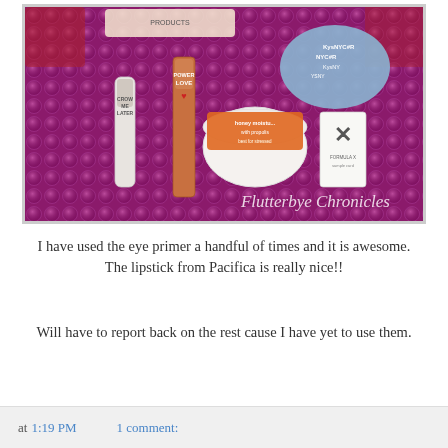[Figure (photo): A photo of beauty subscription box contents laid out on a shiny pink/magenta bubble wrap surface. Products visible include an eye primer tube labeled 'CROW ME LATER', a lipstick labeled 'POWER LOVE', a round cream jar labeled 'honey moistu... with propolis', a small card with an X logo, and a blue bag with text 'KysNYC#R NYC#R'. Watermark text reads 'Flutterbye Chronicles' in white italic script at the bottom right.]
I have used the eye primer a handful of times and it is awesome. The lipstick from Pacifica is really nice!!
Will have to report back on the rest cause I have yet to use them.
at 1:19 PM    1 comment: